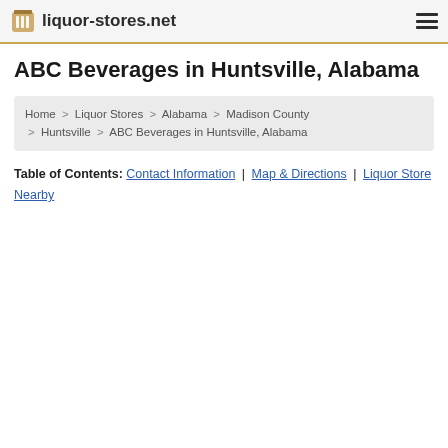liquor-stores.net
ABC Beverages in Huntsville, Alabama
Home > Liquor Stores > Alabama > Madison County > Huntsville > ABC Beverages in Huntsville, Alabama
Table of Contents: Contact Information | Map & Directions | Liquor Store Nearby